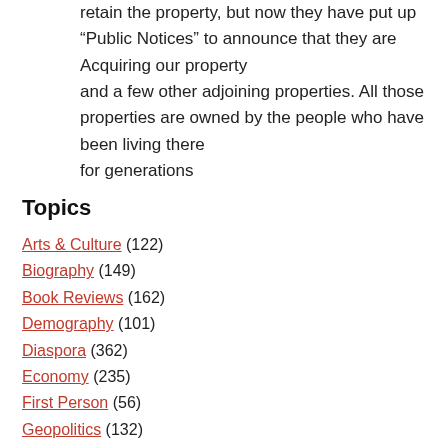retain the property, but now they have put up "Public Notices" to announce that they are Acquiring our property and a few other adjoining properties. All those properties are owned by the people who have been living there for generations
Topics
Arts & Culture (122)
Biography (149)
Book Reviews (162)
Demography (101)
Diaspora (362)
Economy (235)
First Person (56)
Geopolitics (132)
Government (301)
History (272)
Human Rights (1,299)